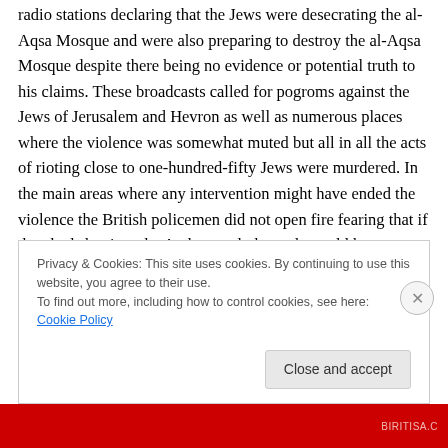radio stations declaring that the Jews were desecrating the al-Aqsa Mosque and were also preparing to destroy the al-Aqsa Mosque despite there being no evidence or potential truth to his claims. These broadcasts called for pogroms against the Jews of Jerusalem and Hevron as well as numerous places where the violence was somewhat muted but all in all the acts of rioting close to one-hundred-fifty Jews were murdered. In the main areas where any intervention might have ended the violence the British policemen did not open fire fearing that if they had shot into the Arab crowd, the mob would have turned their
Privacy & Cookies: This site uses cookies. By continuing to use this website, you agree to their use.
To find out more, including how to control cookies, see here: Cookie Policy
[Figure (other): Red banner at bottom of page with partial image visible]